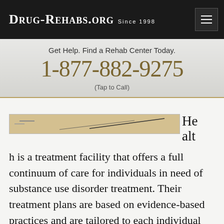DRUG-REHABS.ORG SINCE 1998
Get Help. Find a Rehab Center Today.
1-877-882-9275
(Tap to Call)
[Figure (photo): Partial image of a facility or document, cropped]
h is a treatment facility that offers a full continuum of care for individuals in need of substance use disorder treatment. Their treatment plans are based on evidence-based practices and are tailored to each individual client with the goal of providing comprehensive care that promotes sustained recovery, including the treatment of any co-occurring disorders. Tellurian offers inpatient rehabilitation and detoxification programs for patients who